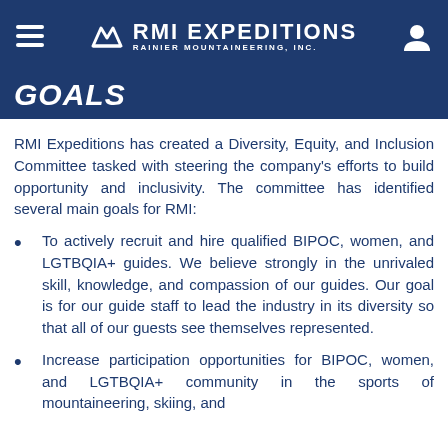RMI EXPEDITIONS — RAINIER MOUNTAINEERING, INC.
GOALS
RMI Expeditions has created a Diversity, Equity, and Inclusion Committee tasked with steering the company's efforts to build opportunity and inclusivity. The committee has identified several main goals for RMI:
To actively recruit and hire qualified BIPOC, women, and LGTBQIA+ guides. We believe strongly in the unrivaled skill, knowledge, and compassion of our guides. Our goal is for our guide staff to lead the industry in its diversity so that all of our guests see themselves represented.
Increase participation opportunities for BIPOC, women, and LGTBQIA+ community in the sports of mountaineering, skiing, and…